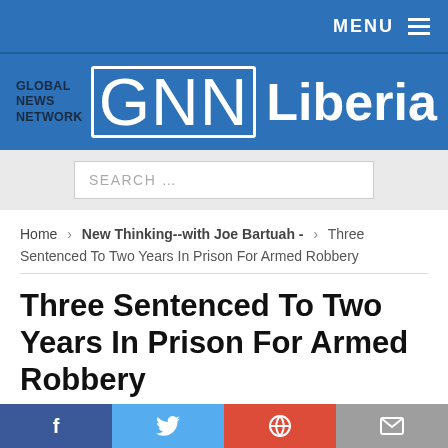MENU
[Figure (logo): Global News Network GNN Liberia logo on blue background]
SEARCH ...
Home > New Thinking--with Joe Bartuah - > Three Sentenced To Two Years In Prison For Armed Robbery
Three Sentenced To Two Years In Prison For Armed Robbery
December 31, 2014  New Thinking--with Joe Bartuah -  0